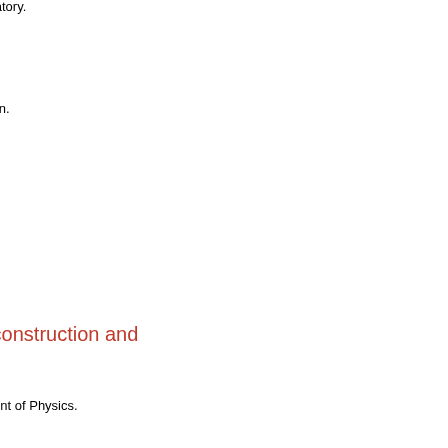🏠 Rutherford Seminar Room B (Room 980), Cavendish Laboratory.
🕐 Thursday 24 October 2019, 16:00-17:00
Theory of Condensed Matter
Axial anomalies in Weyl semimetals
👤 Prof. Jens Bardarson, KTH Royal Technical Institute, Sweden.
🏠 TCM Seminar Room, Cavendish Laboratory.
🕐 Thursday 24 October 2019, 14:15-15:15
Electronic Structure Discussion Group
Exchange-diffusion Monte Carlo
👤 Michael Hutcheon.
🏠 Mott Seminar Room, Cavendish Laboratory.
🕐 Wednesday 23 October 2019, 11:30-12:30
Quantum Matter Seminar
Charge-Density-Wave: Fermi-surface Reconstruction and Competing Orders
👤 Dr. Sven Friedemann.
🏠 Mott Seminar Room (531), Cavendish Laboratory, Department of Physics.
🕐 Wednesday 23 October 2019, 11:15-12:15
Cavendish HEP Seminars
New physics and tau g – 2 using LHC he...
👤 Lydia Beresford (University of Oxford).